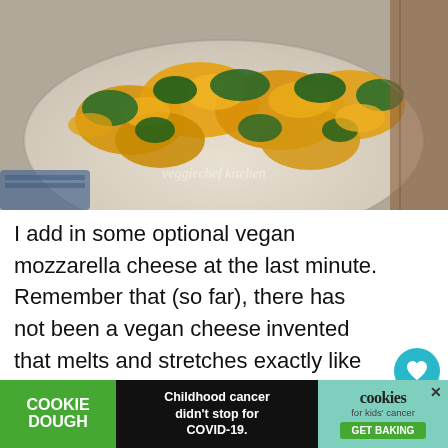[Figure (photo): Close-up photo of scrambled eggs with sautéed spinach on a white plate, with watermark text 'veggiecheftikitchen']
I add in some optional vegan mozzarella cheese at the last minute. Remember that (so far), there has not been a vegan cheese invented that melts and stretches exactly like dairy cheese – so just add a little bit. In fa... for 1/4
[Figure (infographic): Advertisement banner: Cookie Dough on left in green, center text 'Childhood cancer didn't stop for COVID-19.', right side shows cookies for kids cancer logo with GET BAKING button]